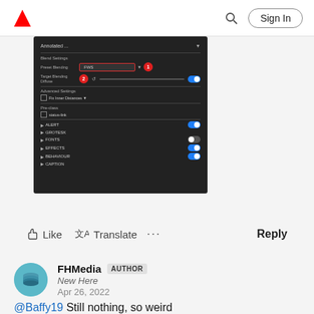Adobe — Sign In
[Figure (screenshot): Dark Adobe software panel screenshot showing Blend Settings with Preset Blending field (highlighted in red border) labeled 1, and Target Blending Diffuse slider labeled 2, plus several toggles for ALERT, GROTESK, FONTS, EFFECTS, BEHAVIOUR, CAPTION categories]
Like  Translate  ...  Reply
FHMedia  AUTHOR
New Here
Apr 26, 2022
@Baffy19 Still nothing, so weird